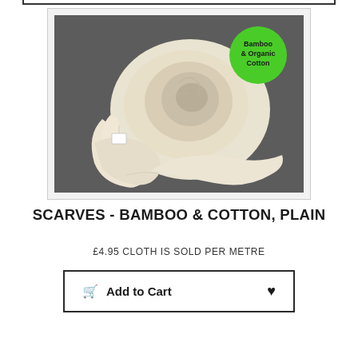[Figure (photo): Product photo of a cream-colored bamboo and organic cotton scarf, loosely coiled on a dark grey background, with a green circular badge reading 'Bamboo & Organic Cotton']
SCARVES - BAMBOO & COTTON, PLAIN
£4.95 CLOTH IS SOLD PER METRE
Add to Cart